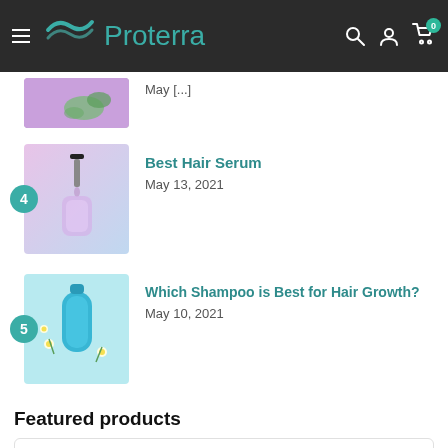Proterra
[Figure (photo): Partial view of a purple-toned product image with herbs, cropped at top]
May [date partially visible]
[Figure (photo): Hair serum bottle dropper on pink background]
Best Hair Serum
May 13, 2021
[Figure (photo): Blue shampoo bottle with flowers on light blue background]
Which Shampoo is Best for Hair Growth?
May 10, 2021
Featured products
[Figure (photo): Partial product card, bottom cut off]